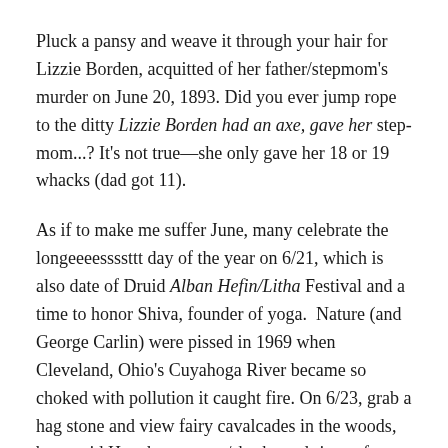Pluck a pansy and weave it through your hair for Lizzie Borden, acquitted of her father/stepmom's murder on June 20, 1893. Did you ever jump rope to the ditty Lizzie Borden had an axe, gave her step-mom...? It's not true—she only gave her 18 or 19 whacks (dad got 11).
As if to make me suffer June, many celebrate the longeeeessssttt day of the year on 6/21, which is also date of Druid Alban Hefin/Litha Festival and a time to honor Shiva, founder of yoga.  Nature (and George Carlin) were pissed in 1969 when Cleveland, Ohio's Cuyahoga River became so choked with pollution it caught fire. On 6/23, grab a hag stone and view fairy cavalcades in the woods, but avoid Hawthorne trees/shrubs and rings of posies.